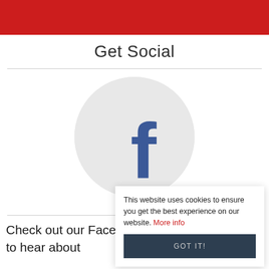Get Social
[Figure (logo): Facebook logo icon (lowercase f) centered inside a light grey circle]
This website uses cookies to ensure you get the best experience on our website. More info
GOT IT!
Check out our Facebook page to be the first to hear about